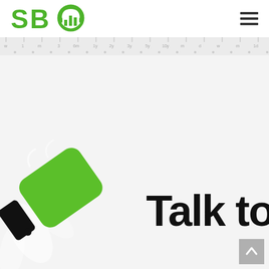[Figure (logo): SBO logo with green text 'SBO' and a green headphone/chart icon]
[Figure (illustration): Hamburger menu icon (three horizontal lines) in top right]
[Figure (other): Ruler/tick strip with measurement marks]
[Figure (illustration): Megaphone/speaker illustration with green rounded rectangle shape and white leaf decorations on a light grey background]
Talk to
[Figure (other): Grey back-to-top button with white upward arrow]